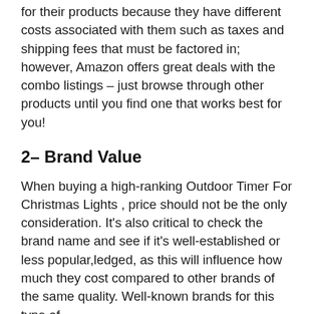for their products because they have different costs associated with them such as taxes and shipping fees that must be factored in; however, Amazon offers great deals with the combo listings – just browse through other products until you find one that works best for you!
2– Brand Value
When buying a high-ranking Outdoor Timer For Christmas Lights , price should not be the only consideration. It's also critical to check the brand name and see if it's well-established or less popular,ledged, as this will influence how much they cost compared to other brands of the same quality. Well-known brands for this type of